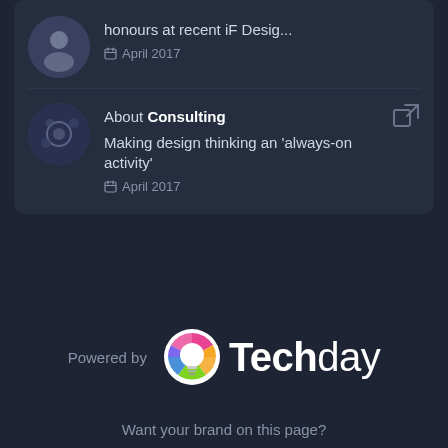honours at recent iF Desig... April 2017
About Consulting
Making design thinking an 'always-on activity'
April 2017
[Figure (logo): Techday logo with colorful lightbulb icon]
Powered by
Want your brand on this page?